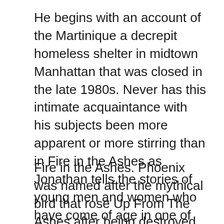He begins with an account of the Martinique a decrepit homeless shelter in midtown Manhattan that was closed in the late 1980s. Never has this intimate acquaintance with his subjects been more apparent or more stirring than in Fire in the Ashes as Jonathan tells the stories of young men and women who have come of age in one of the most destitute communities of the United States. Theres nothing wrong with keeping a loved ones ashes in the house.
Fire in the Ashes. Phoenix was named after the mythical bird that rose Up From The Ashes after being destroyed by fire. Some of them never do recover from the battering they undergo in their early years but many